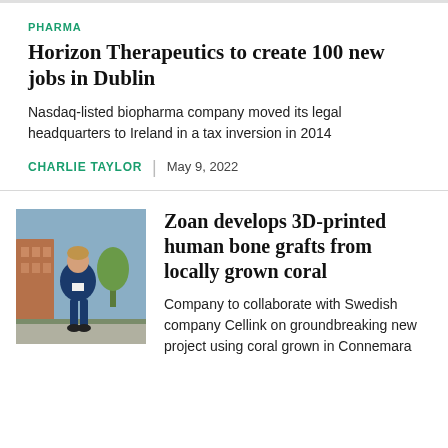PHARMA
Horizon Therapeutics to create 100 new jobs in Dublin
Nasdaq-listed biopharma company moved its legal headquarters to Ireland in a tax inversion in 2014
CHARLIE TAYLOR | May 9, 2022
[Figure (photo): Man in blue suit standing outdoors on a city street]
Zoan develops 3D‑printed human bone grafts from locally grown coral
Company to collaborate with Swedish company Cellink on groundbreaking new project using coral grown in Connemara